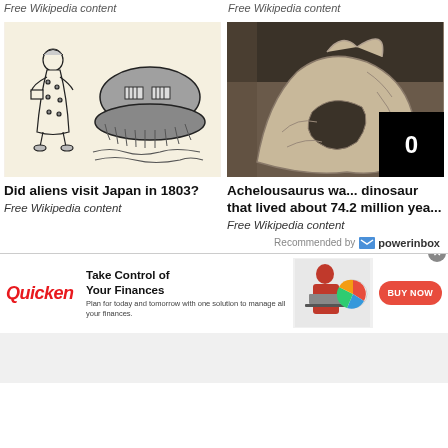Free Wikipedia content   Free Wikipedia content
[Figure (illustration): Line drawing of a Japanese woman in traditional dress next to a large domed UFO-like object (Utsuro-bune)]
Did aliens visit Japan in 1803?
Free Wikipedia content
[Figure (photo): Photograph of an Achelousaurus dinosaur skull fossil in a museum display case]
Achelousaurus wa... dinosaur that lived about 74.2 million yea...
Free Wikipedia content
Recommended by powerinbox
[Figure (infographic): Quicken advertisement banner: Take Control of Your Finances - BUY NOW button, with a woman working on a laptop and a pie chart graphic]